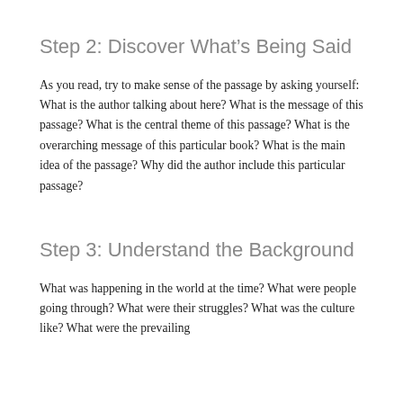Step 2: Discover What’s Being Said
As you read, try to make sense of the passage by asking yourself: What is the author talking about here? What is the message of this passage? What is the central theme of this passage? What is the overarching message of this particular book? What is the main idea of the passage? Why did the author include this particular passage?
Step 3: Understand the Background
What was happening in the world at the time? What were people going through? What were their struggles? What was the culture like? What were the prevailing